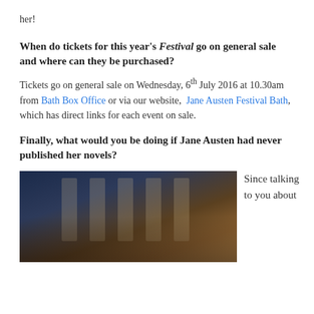her!
When do tickets for this year's Festival go on general sale and where can they be purchased?
Tickets go on general sale on Wednesday, 6th July 2016 at 10.30am from Bath Box Office or via our website, Jane Austen Festival Bath, which has direct links for each event on sale.
Finally, what would you be doing if Jane Austen had never published her novels?
[Figure (photo): Photo of a crowd at what appears to be an evening event at a classical building with columns, lit warmly]
Since talking to you about